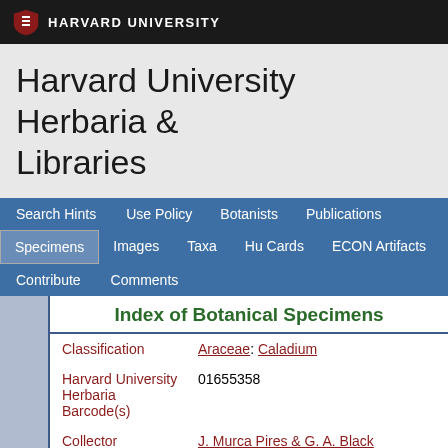HARVARD UNIVERSITY
Harvard University Herbaria & Libraries
Search Hints  Use Policy  Botanists  Publications  Specimens  Images  Taxa  Hu Cards  ECON Artifacts  Contribute  Comments
Index of Botanical Specimens
| Field | Value |
| --- | --- |
| Classification | Araceae: Caladium |
| Harvard University Herbaria Barcode(s) | 01655358 |
| Collector | J. Murca Pires & G. A. Black |
| Collector number | 699 |
| Country | Brazil |
| State | Pará |